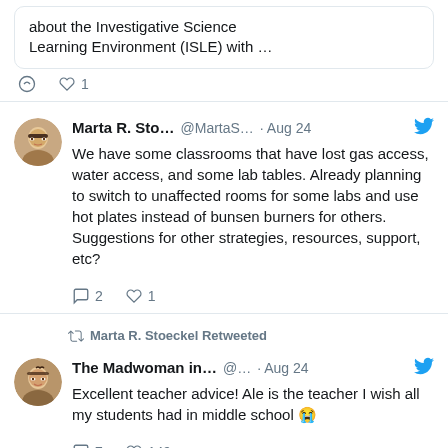about the Investigative Science Learning Environment (ISLE) with …
💬 ♡ 1
Marta R. Sto… @MartaS… · Aug 24
We have some classrooms that have lost gas access, water access, and some lab tables. Already planning to switch to unaffected rooms for some labs and use hot plates instead of bunsen burners for others. Suggestions for other strategies, resources, support, etc?
💬 2  ♡ 1
Marta R. Stoeckel Retweeted
The Madwoman in… @… · Aug 24
Excellent teacher advice! Ale is the teacher I wish all my students had in middle school 😭
💬 7  ♡ 149